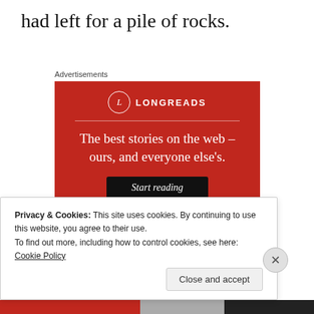had left for a pile of rocks.
Advertisements
[Figure (other): Longreads advertisement banner on red background with logo, tagline 'The best stories on the web – ours, and everyone else's.' and a 'Start reading' button.]
Privacy & Cookies: This site uses cookies. By continuing to use this website, you agree to their use.
To find out more, including how to control cookies, see here: Cookie Policy
Close and accept